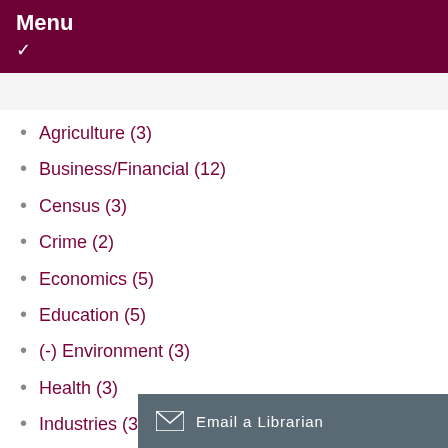Menu
Agriculture (3)
Business/Financial (12)
Census (3)
Crime (2)
Economics (5)
Education (5)
(-) Environment (3)
Health (3)
Industries (3)
International Trade (4)
Labour (6)
Languages (3)
(-) Political Science (5)
Population and Demography (5)
Public Opinion (2)
Science and Technology
Society and Commun…
Email a Librarian